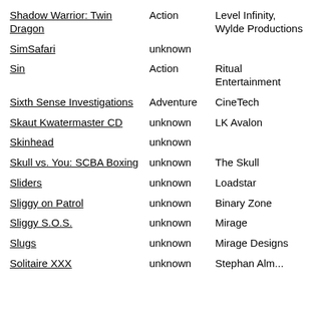| Game | Genre | Developer |
| --- | --- | --- |
| Shadow Warrior: Twin Dragon | Action | Level Infinity, Wylde Productions |
| SimSafari | unknown |  |
| Sin | Action | Ritual Entertainment |
| Sixth Sense Investigations | Adventure | CineTech |
| Skaut Kwatermaster CD | unknown | LK Avalon |
| Skinhead | unknown |  |
| Skull vs. You: SCBA Boxing | unknown | The Skull |
| Sliders | unknown | Loadstar |
| Sliggy on Patrol | unknown | Binary Zone |
| Sliggy S.O.S. | unknown | Mirage |
| Slugs | unknown | Mirage Designs |
| Solitaire XXX | unknown | Stephan Alm... |